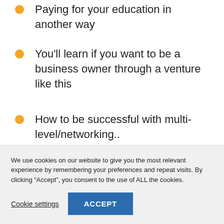Paying for your education in another way
You'll learn if you want to be a business owner through a venture like this
How to be successful with multi-level/networking..
We use cookies on our website to give you the most relevant experience by remembering your preferences and repeat visits. By clicking “Accept”, you consent to the use of ALL the cookies.
Cookie settings
ACCEPT